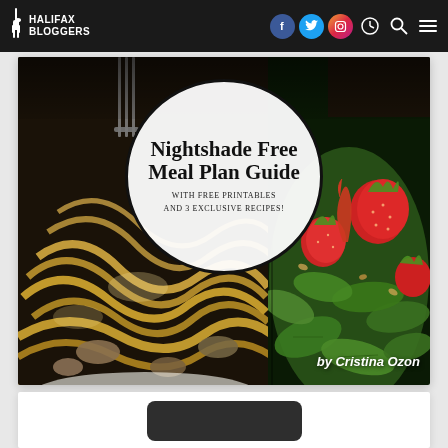Halifax Bloggers
[Figure (photo): Book cover for 'Nightshade Free Meal Plan Guide with Free Printables and 3 Exclusive Recipes! by Cristina Ozon' — left side shows pasta dish, right side shows strawberry spinach salad, with white circle overlay containing title text]
[Figure (other): Bottom of page showing partial dark rounded button element]